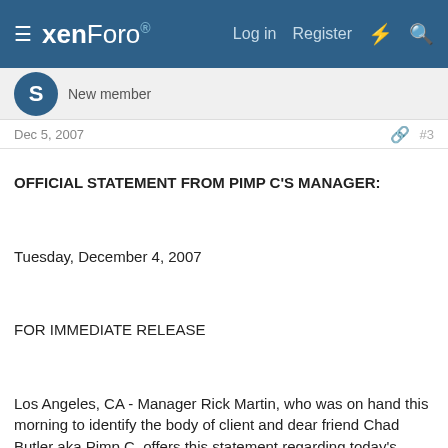xenForo — Log in  Register
New member
Dec 5, 2007   #3
OFFICIAL STATEMENT FROM PIMP C'S MANAGER:

Tuesday, December 4, 2007

FOR IMMEDIATE RELEASE

Los Angeles, CA - Manager Rick Martin, who was on hand this morning to identify the body of client and dear friend Chad Butler aka Pimp C, offers this statement regarding today's tragic loss:

This morning saw the loss of a man that was not only a client, but a very dear friend at a time when he had the most to live for. He was my best friend and I will always love him.